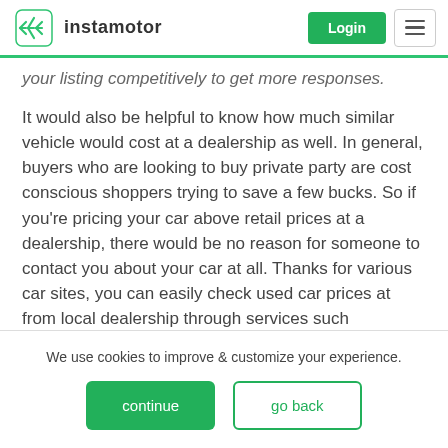instamotor — Login
your listing competitively to get more responses.
It would also be helpful to know how much similar vehicle would cost at a dealership as well. In general, buyers who are looking to buy private party are cost conscious shoppers trying to save a few bucks. So if you're pricing your car above retail prices at a dealership, there would be no reason for someone to contact you about your car at all. Thanks for various car sites, you can easily check used car prices at from local dealership through services such
We use cookies to improve & customize your experience.
continue
go back